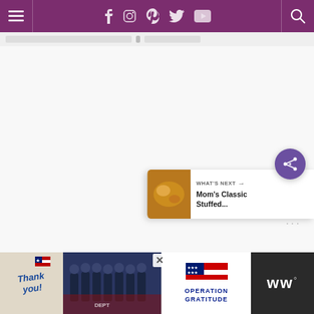Navigation header with hamburger menu, social icons (Facebook, Instagram, Pinterest, Twitter, YouTube), and search icon on purple background
[Figure (screenshot): Large white/blank main content area below the navigation header]
[Figure (infographic): Share button: purple circle with share icon (bottom right area)]
[Figure (infographic): What's Next card: thumbnail image of food with text 'WHAT'S NEXT → Mom's Classic Stuffed...' on white card]
[Figure (screenshot): Dark banner section at bottom of main content area]
[Figure (screenshot): Advertisement overlay: Thank you Operation Gratitude ad with firefighters image and WW logo]